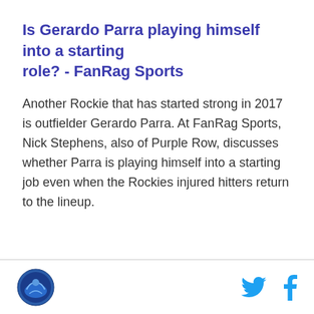Is Gerardo Parra playing himself into a starting role? - FanRag Sports
Another Rockie that has started strong in 2017 is outfielder Gerardo Parra. At FanRag Sports, Nick Stephens, also of Purple Row, discusses whether Parra is playing himself into a starting job even when the Rockies injured hitters return to the lineup.
[logo] [twitter] [facebook]